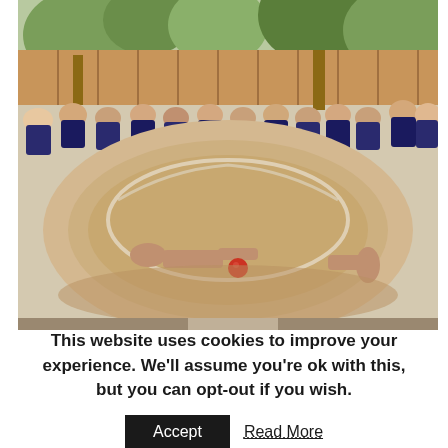[Figure (photo): Group of school children in dark uniforms gathered around a large sandy play area outdoors, watching an activity. Trees and a wooden fence visible in the background. A red object is on the sandy ground.]
This website uses cookies to improve your experience. We'll assume you're ok with this, but you can opt-out if you wish.
Accept   Read More